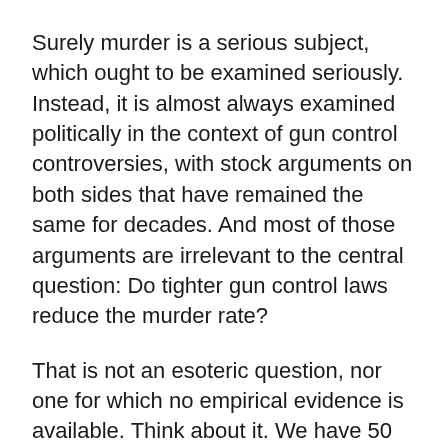Surely murder is a serious subject, which ought to be examined seriously. Instead, it is almost always examined politically in the context of gun control controversies, with stock arguments on both sides that have remained the same for decades. And most of those arguments are irrelevant to the central question: Do tighter gun control laws reduce the murder rate?
That is not an esoteric question, nor one for which no empirical evidence is available. Think about it. We have 50 states, each with its own gun control laws, and many of those laws have gotten either tighter or looser over the years. There must be tons of data that could indicate whether murder rates went up or down when either of these things happened.
But have you ever heard any gun control advocate cite any such data? Tragically, gun control laws are some of the most fact-free...